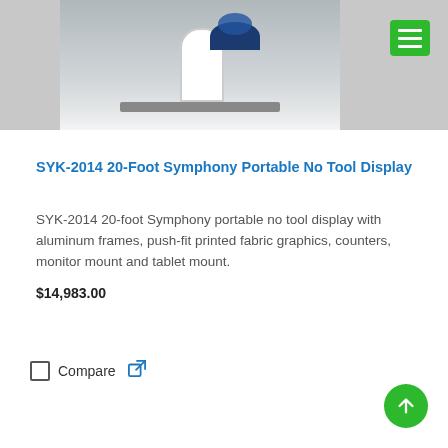[Figure (photo): Photo of SYK-2014 20-foot Symphony portable display with white curved stand structure and dark blue branding on a gray surface, with a green hamburger menu button in the top-right corner]
SYK-2014 20-Foot Symphony Portable No Tool Display
SYK-2014 20-foot Symphony portable no tool display with aluminum frames, push-fit printed fabric graphics, counters, monitor mount and tablet mount.
$14,983.00
Compare